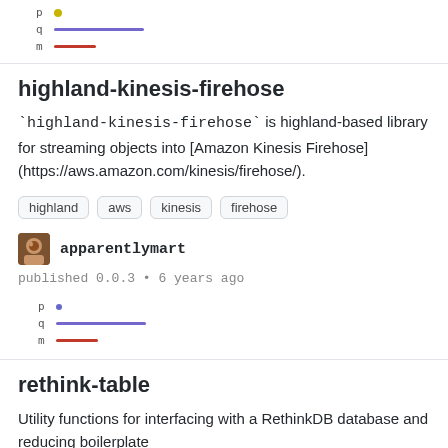[Figure (other): p q m legend rows with colored dot and lines (purple line, red line) at top of page]
highland-kinesis-firehose
`highland-kinesis-firehose` is highland-based library for streaming objects into [Amazon Kinesis Firehose](https://aws.amazon.com/kinesis/firehose/).
highland
aws
kinesis
firehose
apparentlymart
published 0.0.3 • 6 years ago
[Figure (other): p q m legend rows with colored dot and lines (purple line, red line)]
rethink-table
Utility functions for interfacing with a RethinkDB database and reducing boilerplate